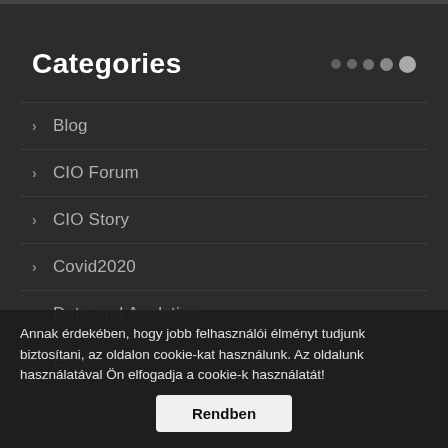Categories
Blog
CIO Forum
CIO Story
Covid2020
Data and Analytics
Egyéb
Emerging Technologies
Enterprise Architecture and Techno...
Annak érdekében, hogy jobb felhasználói élményt tudjunk biztosítani, az oldalon cookie-kat használunk. Az oldalunk használatával Ön elfogadja a cookie-k használatát!